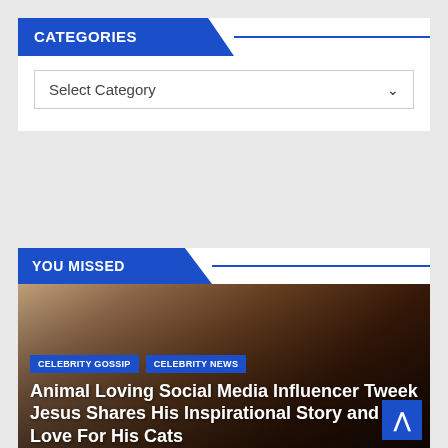CATEGORIES
Select Category
YOU MISSED
CELEBRITY GOSSIP   CELEBRITY NEWS
Animal Loving Social Media Influencer Tweek Jesus Shares His Inspirational Story and Love For His Cats